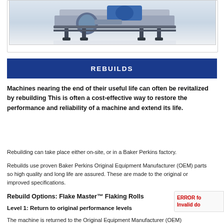[Figure (photo): Industrial flaking roll machine shown from the side, with blue motor housing and black frame with feet, on a light grey background.]
REBUILDS
Machines nearing the end of their useful life can often be revitalized by rebuilding This is often a cost-effective way to restore the performance and reliability of a machine and extend its life.
Rebuilding can take place either on-site, or in a Baker Perkins factory.
Rebuilds use proven Baker Perkins Original Equipment Manufacturer (OEM) parts so high quality and long life are assured. These are made to the original or improved specifications.
Rebuild Options: Flake Master™ Flaking Rolls
Level 1: Return to original performance levels
The machine is returned to the Original Equipment Manufacturer (OEM)